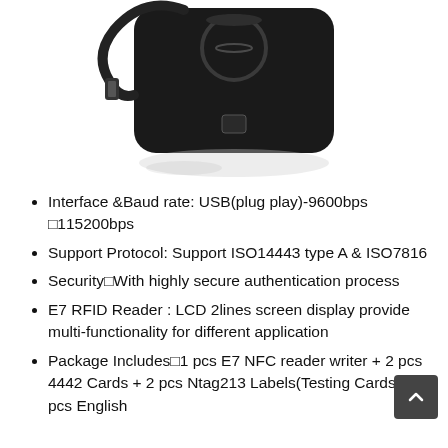[Figure (photo): Black USB RFID/NFC reader device with cable shown from above with reflection below]
Interface &Baud rate: USB(plug play)-9600bps □115200bps
Support Protocol: Support ISO14443 type A & ISO7816
Security□With highly secure authentication process
E7 RFID Reader : LCD 2lines screen display provide multi-functionality for different application
Package Includes□1 pcs E7 NFC reader writer + 2 pcs 4442 Cards + 2 pcs Ntag213 Labels(Testing Cards) + 1 pcs English